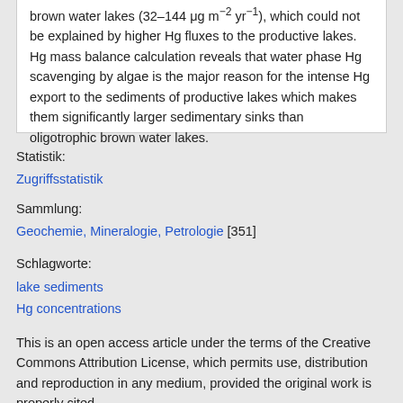brown water lakes (32–144 μg m−2 yr−1), which could not be explained by higher Hg fluxes to the productive lakes. Hg mass balance calculation reveals that water phase Hg scavenging by algae is the major reason for the intense Hg export to the sediments of productive lakes which makes them significantly larger sedimentary sinks than oligotrophic brown water lakes.
Statistik:
Zugriffsstatistik
Sammlung:
Geochemie, Mineralogie, Petrologie [351]
Schlagworte:
lake sediments
Hg concentrations
This is an open access article under the terms of the Creative Commons Attribution License, which permits use, distribution and reproduction in any medium, provided the original work is properly cited.